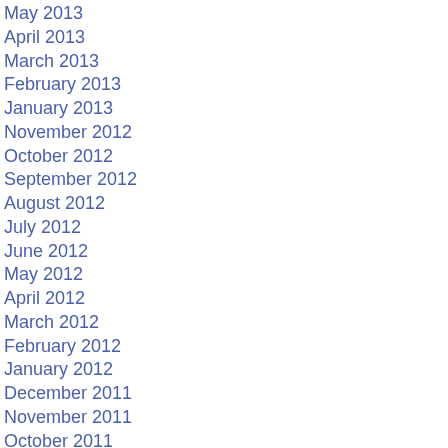May 2013
April 2013
March 2013
February 2013
January 2013
November 2012
October 2012
September 2012
August 2012
July 2012
June 2012
May 2012
April 2012
March 2012
February 2012
January 2012
December 2011
November 2011
October 2011
September 2011
August 2011
July 2011